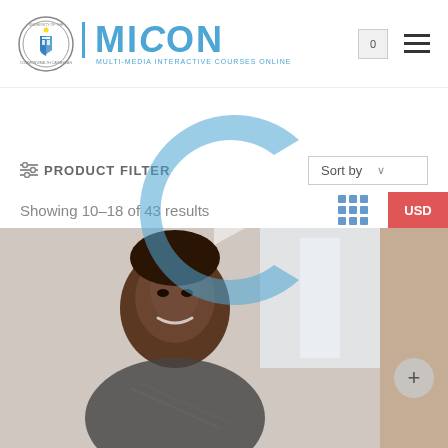[Figure (logo): MICON - Multi-Media Interactive Courses Online logo with University of the Commonwealth Caribbean seal]
PRODUCT FILTER
Showing 10–18 of 43 results
[Figure (logo): Large semi-transparent blue C with play button icon watermark overlay]
[Figure (photo): Smiling young man looking at camera, seated indoors, wearing plaid shirt]